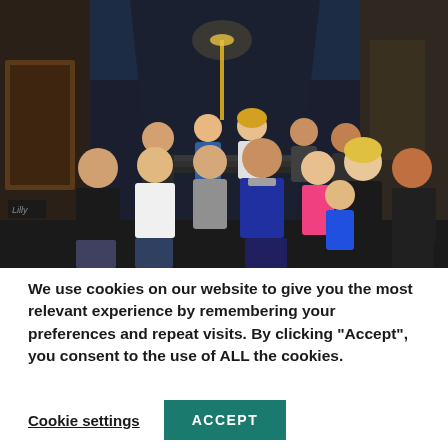[Figure (photo): Nighttime group photo of approximately 12 people posing on steps in a narrow urban alley with buildings on either side, a street lamp visible in the background, and blue-tinted lighting from above. People are dressed in casual and warm clothing.]
We use cookies on our website to give you the most relevant experience by remembering your preferences and repeat visits. By clicking "Accept", you consent to the use of ALL the cookies.
Cookie settings
ACCEPT